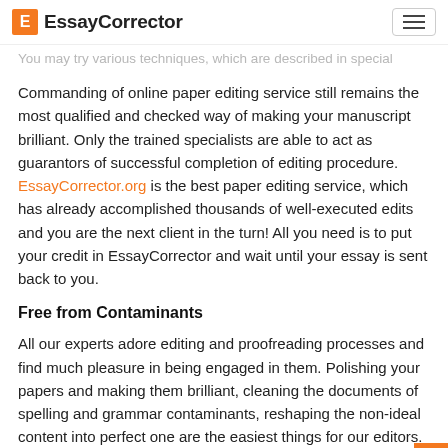EssayCorrctor
You may try various techniques, which are described in special guidelines, though none of them will guaranty you 100% success.
Commanding of online paper editing service still remains the most qualified and checked way of making your manuscript brilliant. Only the trained specialists are able to act as guarantors of successful completion of editing procedure. EssayCorrector.org is the best paper editing service, which has already accomplished thousands of well-executed edits and you are the next client in the turn! All you need is to put your credit in EssayCorrector and wait until your essay is sent back to you.
Free from Contaminants
All our experts adore editing and proofreading processes and find much pleasure in being engaged in them. Polishing your papers and making them brilliant, cleaning the documents of spelling and grammar contaminants, reshaping the non-ideal content into perfect one are the easiest things for our editors. Each of them editing papers online daily and nightly and their level of professionalism is exceptionally. Moreover, our editors